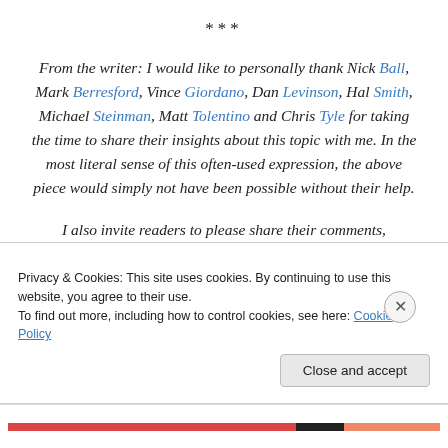***
From the writer: I would like to personally thank Nick Ball, Mark Berresford, Vince Giordano, Dan Levinson, Hal Smith, Michael Steinman, Matt Tolentino and Chris Tyle for taking the time to share their insights about this topic with me. In the most literal sense of this often-used expression, the above piece would simply not have been possible without their help.
I also invite readers to please share their comments,
Privacy & Cookies: This site uses cookies. By continuing to use this website, you agree to their use.
To find out more, including how to control cookies, see here: Cookie Policy
Close and accept